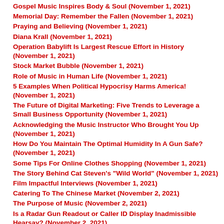Gospel Music Inspires Body & Soul (November 1, 2021)
Memorial Day: Remember the Fallen (November 1, 2021)
Praying and Believing (November 1, 2021)
Diana Krall (November 1, 2021)
Operation Babylift Is Largest Rescue Effort in History (November 1, 2021)
Stock Market Bubble (November 1, 2021)
Role of Music in Human Life (November 1, 2021)
5 Examples When Political Hypocrisy Harms America! (November 1, 2021)
The Future of Digital Marketing: Five Trends to Leverage a Small Business Opportunity (November 1, 2021)
Acknowledging the Music Instructor Who Brought You Up (November 1, 2021)
How Do You Maintain The Optimal Humidity In A Gun Safe? (November 1, 2021)
Some Tips For Online Clothes Shopping (November 1, 2021)
The Story Behind Cat Steven's "Wild World" (November 1, 2021)
Film Impactful Interviews (November 1, 2021)
Catering To The Chinese Market (November 2, 2021)
The Purpose of Music (November 2, 2021)
Is a Radar Gun Readout or Caller ID Display Inadmissible Hearsay? (November 2, 2021)
Twitter Marketing – Using Twitter to Market Your Business (November